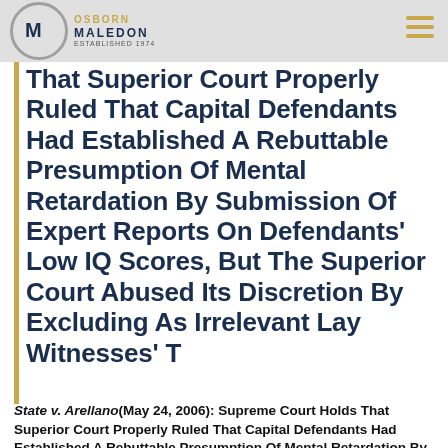Osborn Maledon
That Superior Court Properly Ruled That Capital Defendants Had Established A Rebuttable Presumption Of Mental Retardation By Submission Of Expert Reports On Defendants' Low IQ Scores, But The Superior Court Abused Its Discretion By Excluding As Irrelevant Lay Witnesses' T
State v. Arellano(May 24, 2006): Supreme Court Holds That Superior Court Properly Ruled That Capital Defendants Had Established A Rebuttable Presumption Of Mental Retardation By Submission Of Expert Reports On Defendants' Low IQ Scores, But